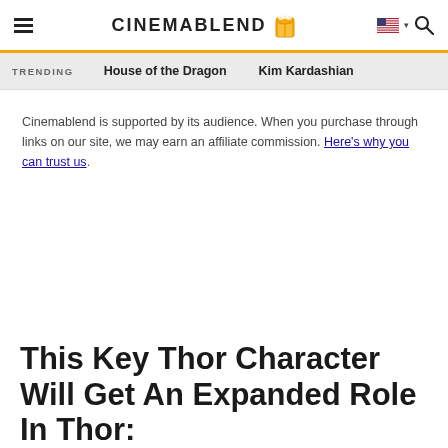CINEMABLEND
TRENDING   House of the Dragon   Kim Kardashian
Cinemablend is supported by its audience. When you purchase through links on our site, we may earn an affiliate commission. Here's why you can trust us.
This Key Thor Character Will Get An Expanded Role In Thor: